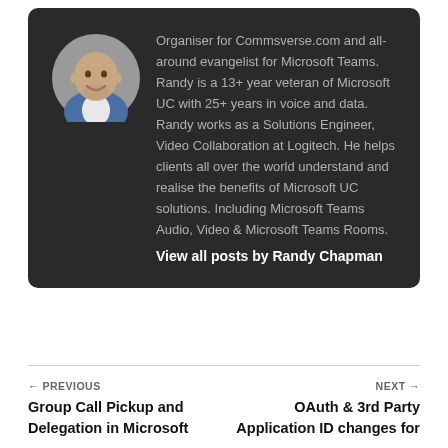[Figure (photo): Circular profile photo of Randy Chapman, a bald man in a blue blazer and white shirt, smiling]
Organiser for Commsverse.com and all-around evangelist for Microsoft Teams. Randy is a 13+ year veteran of Microsoft UC with 25+ years in voice and data. Randy works as a Solutions Engineer, Video Collaboration at Logitech. He helps clients all over the world understand and realise the benefits of Microsoft UC solutions. Including Microsoft Teams Audio, Video & Microsoft Teams Rooms.
View all posts by Randy Chapman
← PREVIOUS
Group Call Pickup and Delegation in Microsoft
NEXT →
OAuth & 3rd Party Application ID changes for